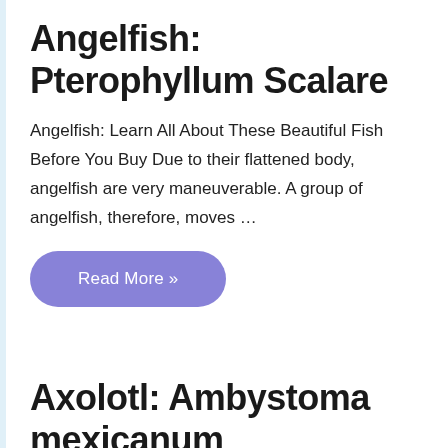Angelfish: Pterophyllum Scalare
Angelfish: Learn All About These Beautiful Fish Before You Buy Due to their flattened body, angelfish are very maneuverable. A group of angelfish, therefore, moves …
Read More »
Axolotl: Ambystoma mexicanum